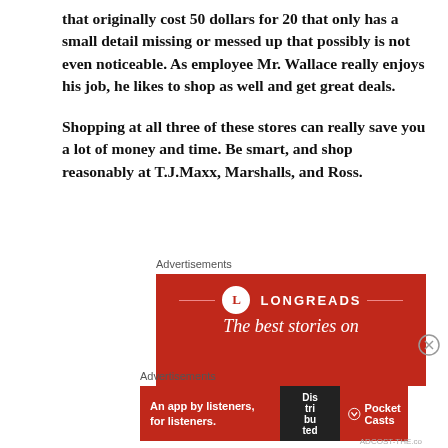that originally cost 50 dollars for 20 that only has a small detail missing or messed up that possibly is not even noticeable.  As employee Mr. Wallace really enjoys his job, he likes to shop as well and get great deals.
Shopping at all three of these stores can really save you a lot of money and time.  Be smart, and shop reasonably at T.J.Maxx, Marshalls, and Ross.
[Figure (other): Longreads advertisement banner: red background with Longreads logo (L in circle) and text 'The best stories on...']
[Figure (other): Pocket Casts advertisement banner: red background with text 'An app by listeners, for listeners.' and Pocket Casts logo]